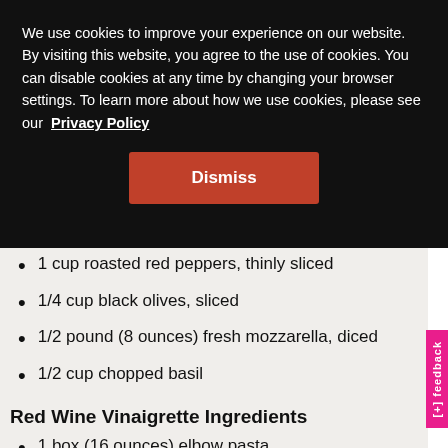We use cookies to improve your experience on our website. By visiting this website, you agree to the use of cookies. You can disable cookies at any time by changing your browser settings. To learn more about how we use cookies, please see our Privacy Policy
Dismiss
1 cup roasted red peppers, thinly sliced
1/4 cup black olives, sliced
1/2 pound (8 ounces) fresh mozzarella, diced
1/2 cup chopped basil
Red Wine Vinaigrette Ingredients
1 box (16 ounces) elbow pasta
4 cups water
1 tablespoon kosher salt